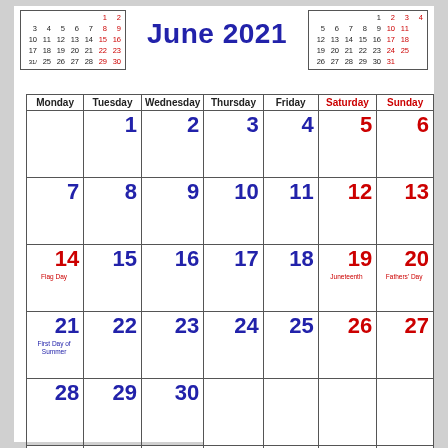[Figure (other): Mini calendar for May 2021 with dates 1-30, weekends in red]
June 2021
[Figure (other): Mini calendar for July 2021 with dates 1-31, weekends in red]
| Monday | Tuesday | Wednesday | Thursday | Friday | Saturday | Sunday |
| --- | --- | --- | --- | --- | --- | --- |
|  | 1 | 2 | 3 | 4 | 5 | 6 |
| 7 | 8 | 9 | 10 | 11 | 12 | 13 |
| 14 Flag Day | 15 | 16 | 17 | 18 | 19 Juneteenth | 20 Fathers' Day |
| 21 First Day of Summer | 22 | 23 | 24 | 25 | 26 | 27 |
| 28 | 29 | 30 |  |  |  |  |
|  |  |  |  |  |  |  |